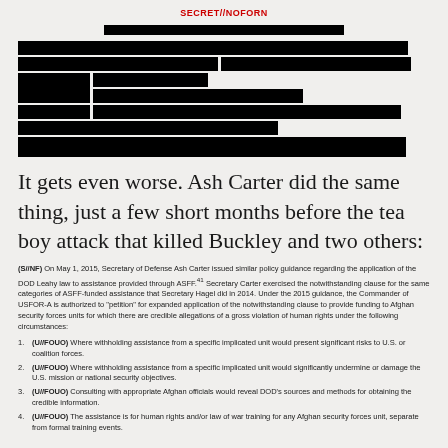SECRET//NOFORN
[Figure (other): Redacted classified document sections with multiple black bars covering text]
It gets even worse. Ash Carter did the same thing, just a few short months before the tea boy attack that killed Buckley and two others:
(S//NF) On May 1, 2015, Secretary of Defense Ash Carter issued similar policy guidance regarding the application of the DOD Leahy law to assistance provided through ASFF.41 Secretary Carter exercised the notwithstanding clause for the same categories of ASFF-funded assistance that Secretary Hagel did in 2014. Under the 2015 guidance, the Commander of USFOR-A is authorized to "petition" for expanded application of the notwithstanding clause to provide funding to Afghan security forces units for which there are credible allegations of a gross violation of human rights under the following circumstances:
(U//FOUO) Where withholding assistance from a specific implicated unit would present significant risks to U.S. or coalition forces.
(U//FOUO) Where withholding assistance from a specific implicated unit would significantly undermine or damage the U.S. mission or national security objectives.
(U//FOUO) Consulting with appropriate Afghan officials would reveal DOD's sources and methods for obtaining the credible information.
(U//FOUO) The assistance is for human rights and/or law of war training for any Afghan security forces unit, separate from formal training events.